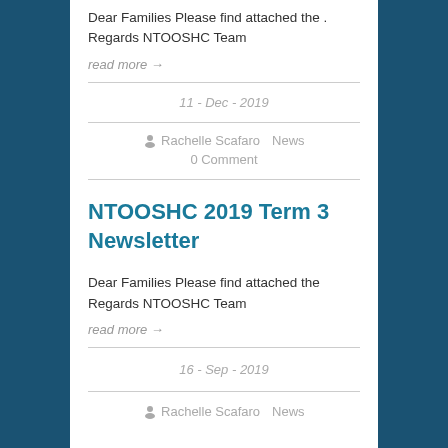Dear Families Please find attached the . Regards NTOOSHC Team
read more →
11 - Dec - 2019
Rachelle Scafaro   News   0 Comment
NTOOSHC 2019 Term 3 Newsletter
Dear Families Please find attached the Regards NTOOSHC Team
read more →
16 - Sep - 2019
Rachelle Scafaro   News